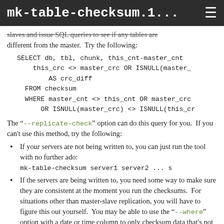mk-table-checksum.1...
slaves and issue SQL queries to see if any tables are different from the master. Try the following:
SELECT db, tbl, chunk, this_cnt-master_cnt
    this_crc <> master_crc OR ISNULL(master_
        AS crc_diff
  FROM checksum
  WHERE master_cnt <> this_cnt OR master_crc
      OR ISNULL(master_crc) <> ISNULL(this_crc
The "--replicate-check" option can do this query for you. If you can't use this method, try the following:
If your servers are not being written to, you can just run the tool with no further ado:
mk-table-checksum server1 server2 ... s
If the servers are being written to, you need some way to make sure they are consistent at the moment you run the checksums. For situations other than master-slave replication, you will have to figure this out yourself. You may be able to use the "--where" option with a date or time column to only checksum data that's not recent.